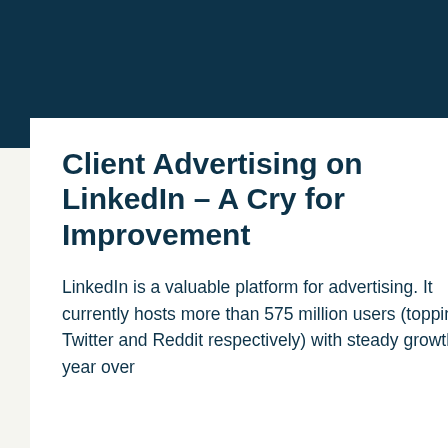Client Advertising on LinkedIn – A Cry for Improvement
LinkedIn is a valuable platform for advertising. It currently hosts more than 575 million users (topping Twitter and Reddit respectively) with steady growth year over